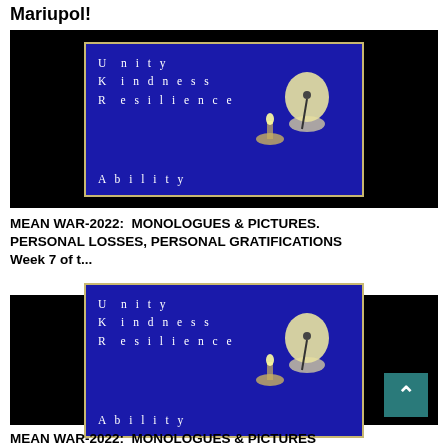Mariupol!
[Figure (illustration): Blue background image with text 'Unity, Kindness, Resilience, Ability' arranged vertically with letters separated, and glowing candle/figure illustration on a dark outer background]
MEAN WAR-2022:  MONOLOGUES & PICTURES. PERSONAL LOSSES, PERSONAL GRATIFICATIONS Week 7 of t...
[Figure (illustration): Same blue background image with text 'Unity, Kindness, Resilience, Ability' arranged vertically with letters separated, and glowing candle/figure illustration on a dark outer background]
MEAN WAR-2022:  MONOLOGUES & PICTURES